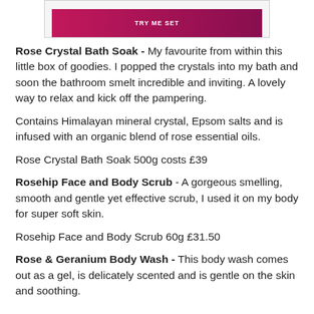[Figure (photo): Partial product image showing a pink/magenta 'TRY ME SET' product box against a light background]
Rose Crystal Bath Soak - My favourite from within this little box of goodies. I popped the crystals into my bath and soon the bathroom smelt incredible and inviting. A lovely way to relax and kick off the pampering.
Contains Himalayan mineral crystal, Epsom salts and is infused with an organic blend of rose essential oils.
Rose Crystal Bath Soak 500g costs £39
Rosehip Face and Body Scrub - A gorgeous smelling, smooth and gentle yet effective scrub, I used it on my body for super soft skin.
Rosehip Face and Body Scrub 60g £31.50
Rose & Geranium Body Wash - This body wash comes out as a gel, is delicately scented and is gentle on the skin and soothing.